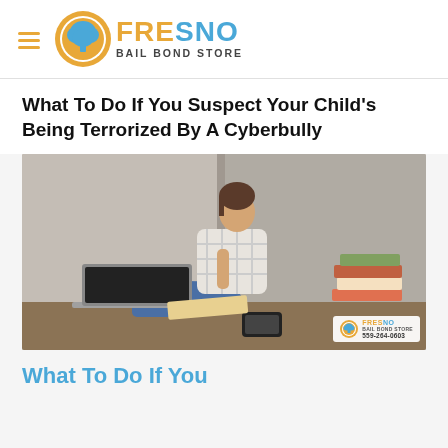FRESNO BAIL BOND STORE
What To Do If You Suspect Your Child's Being Terrorized By A Cyberbully
[Figure (photo): Young woman sitting on floor against wall, leaning forward thoughtfully with hand near mouth, laptop open in front of her and books nearby, wearing plaid shirt and jeans. Fresno Bail Bond Store watermark with phone 559-264-0603.]
What To Do If You